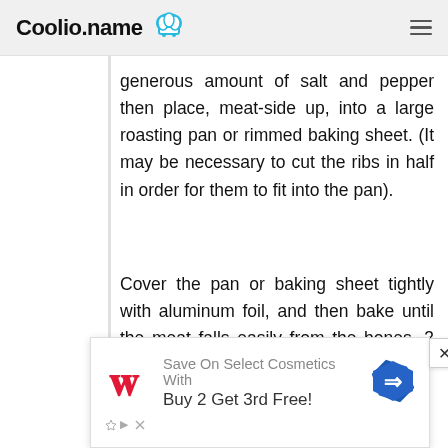Coolio.name
generous amount of salt and pepper then place, meat-side up, into a large roasting pan or rimmed baking sheet. (It may be necessary to cut the ribs in half in order for them to fit into the pan).
Cover the pan or baking sheet tightly with aluminum foil, and then bake until the meat falls easily from the bones, 3 to 4 hours.
While the ribs bake, make the barbecue
[Figure (other): Advertisement banner for Walgreens: Save On Select Cosmetics With Buy 2 Get 3rd Free!]